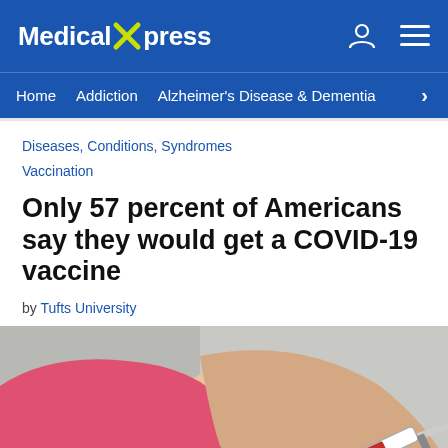Medical Xpress
Home  Addiction  Alzheimer's Disease & Dementia >
Diseases, Conditions, Syndromes
Vaccination
Only 57 percent of Americans say they would get a COVID-19 vaccine
by Tufts University
[Figure (photo): Close-up of a person in a pink short-sleeve shirt receiving an injection/vaccine in the upper arm, with a syringe visible]